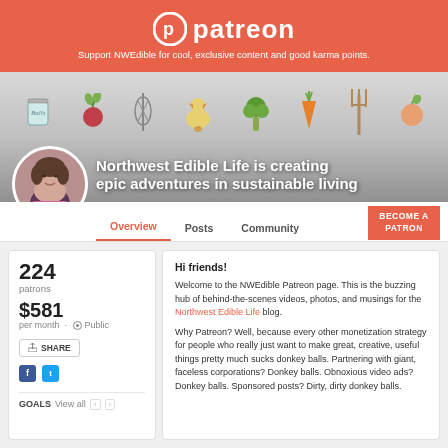[Figure (logo): Patreon logo with coral/orange background banner and white logo text. Tagline: 'Support NWEdible for cool, exclusive content and good karma points.']
[Figure (illustration): Profile banner with illustrated food/garden icons: mason jar, beet, whisk, chicken, broccoli, carrot, pitchfork, peach. Gray gradient background. Text overlay: 'Northwest Edible Life is creating epic adventures in sustainable living'. Circular profile photo of woman with short hair and pink scarf, bottom-left.]
Overview  Posts  Community  BECOME A PATRON
224 patrons
$581 per month · Public
SHARE
GOALS  View all
Hi friends!

Welcome to the NWEdible Patreon page. This is the buzzing hub of behind-the-scenes videos, photos, and musings for the Northwest Edible Life blog.

Why Patreon? Well, because every other monetization strategy for people who really just want to make great, creative, useful things pretty much sucks donkey balls. Partnering with giant, faceless corporations? Donkey balls. Obnoxious video ads? Donkey balls. Sponsored posts? Dirty, dirty donkey balls.